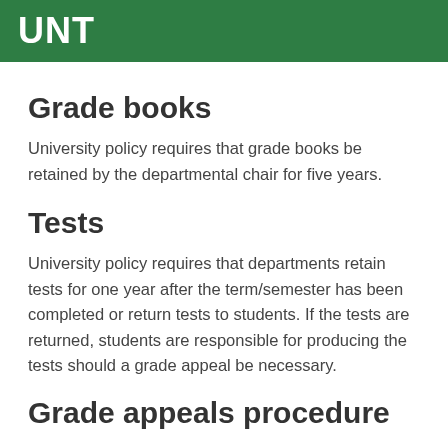UNT
Grade books
University policy requires that grade books be retained by the departmental chair for five years.
Tests
University policy requires that departments retain tests for one year after the term/semester has been completed or return tests to students. If the tests are returned, students are responsible for producing the tests should a grade appeal be necessary.
Grade appeals procedure